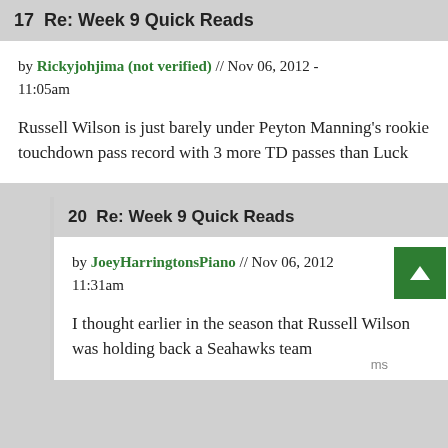17  Re: Week 9 Quick Reads
by Rickyjohjima (not verified) // Nov 06, 2012 - 11:05am
Russell Wilson is just barely under Peyton Manning's rookie touchdown pass record with 3 more TD passes than Luck
20  Re: Week 9 Quick Reads
by JoeyHarringtonsPiano // Nov 06, 2012 - 11:31am
I thought earlier in the season that Russell Wilson was holding back a Seahawks team